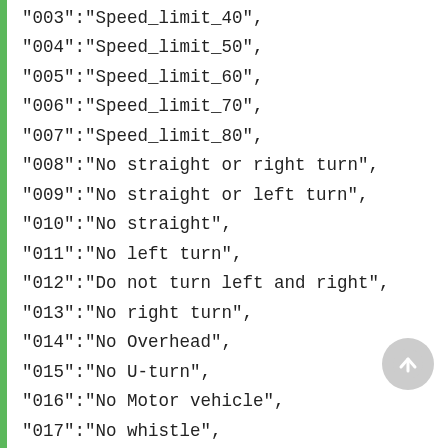"003":"Speed_limit_40",
"004":"Speed_limit_50",
"005":"Speed_limit_60",
"006":"Speed_limit_70",
"007":"Speed_limit_80",
"008":"No straight or right turn",
"009":"No straight or left turn",
"010":"No straight",
"011":"No left turn",
"012":"Do not turn left and right",
"013":"No right turn",
"014":"No Overhead",
"015":"No U-turn",
"016":"No Motor vehicle",
"017":"No whistle",